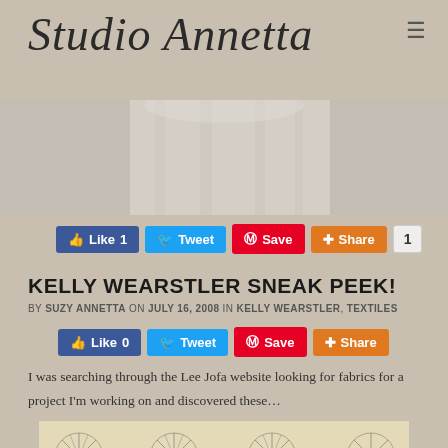Studio Annetta
[Figure (photo): Hero image showing fabric or curtain in beige/cream tones]
Like 1  Tweet  Save  Share  1
KELLY WEARSTLER SNEAK PEEK!
BY SUZY ANNETTA ON JULY 16, 2008 IN KELLY WEARSTLER, TEXTILES
Like 0  Tweet  Save  Share
I was searching through the Lee Jofa website looking for fabrics for a project I'm working on and discovered these…
[Figure (photo): Fabric pattern showing circular starburst/sea urchin motifs in grey on cream/beige background]